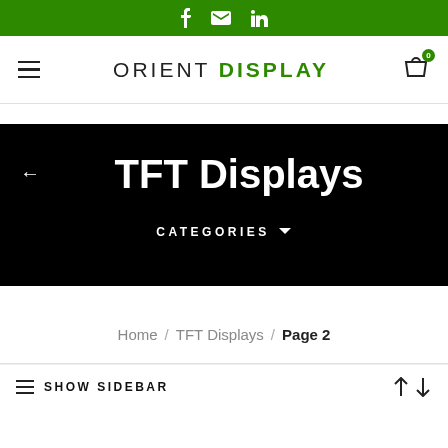Social bar with Facebook, Email, LinkedIn icons
ORIENT DISPLAY — navigation bar with hamburger menu and cart icon showing 0 items
TFT Displays
CATEGORIES ∨
Home / TFT Displays / Page 2
SHOW SIDEBAR